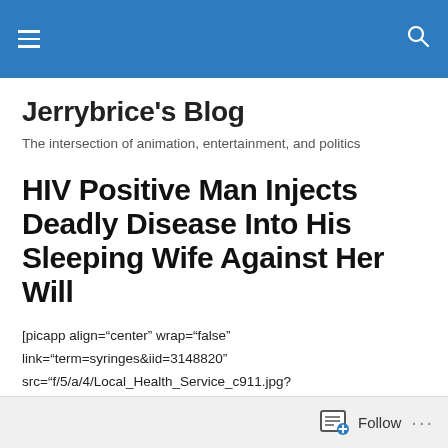Jerrybrice's Blog — navigation header bar
Jerrybrice's Blog
The intersection of animation, entertainment, and politics
HIV Positive Man Injects Deadly Disease Into His Sleeping Wife Against Her Will
[picapp align="center" wrap="false" link="term=syringes&iid=3148820" src="f/5/a/4/Local_Health_Service_c911.jpg?
Follow ...